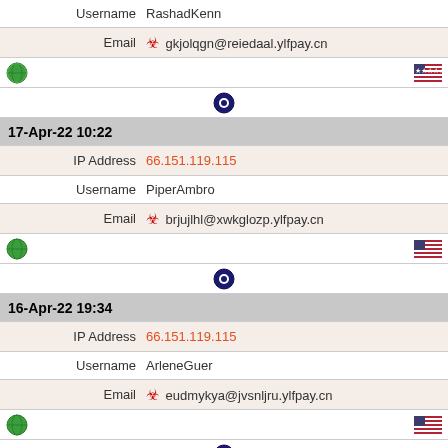| Username | RashadKenn |
| Email | ☣ gkjolqgn@reiedaal.ylfpay.cn |
| [globe icon] | [US flag] |
| [OS icon] |  |
| 17-Apr-22 10:22 |  |
| IP Address | 66.151.119.115 |
| Username | PiperAmbro |
| Email | ☣ brjujlhl@xwkglozp.ylfpay.cn |
| [globe icon] | [US flag] |
| [OS icon] |  |
| 16-Apr-22 19:34 |  |
| IP Address | 66.151.119.115 |
| Username | ArleneGuer |
| Email | ☣ eudmykya@jvsnljru.ylfpay.cn |
| [globe icon] | [US flag] |
| [OS icon] |  |
| 16-Apr-22 17:32 |  |